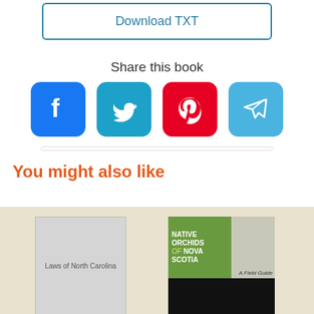[Figure (screenshot): Download TXT button - a rectangular button with blue border and blue text reading 'Download TXT']
Share this book
[Figure (infographic): Four social media share icons: Facebook (blue), Twitter (teal), Pinterest (red), Telegram (light blue)]
You might also like
[Figure (illustration): Book cover placeholder for 'Laws of North Carolina' - grey rectangle]
[Figure (illustration): Book cover for 'Native Orchids of Nova Scotia: A Field Guide' - green and white cover with orchid photo]